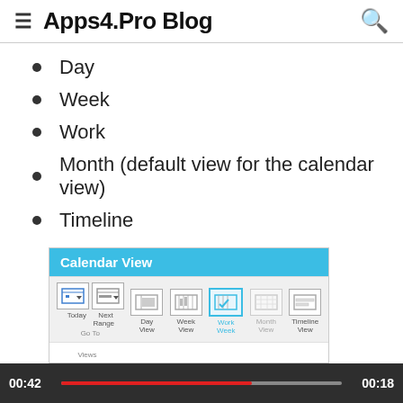Apps4.Pro Blog
Day
Week
Work
Month (default view for the calendar view)
Timeline
[Figure (screenshot): Screenshot of Microsoft Outlook or similar calendar app showing 'Calendar View' ribbon panel with a blue header and icon buttons for Today, Next Range, Day View, Week View, Work Week, Month View, and Timeline View grouped under Go To and Views sections. A video player progress bar is overlaid at the bottom showing timestamps 00:42 and 00:18.]